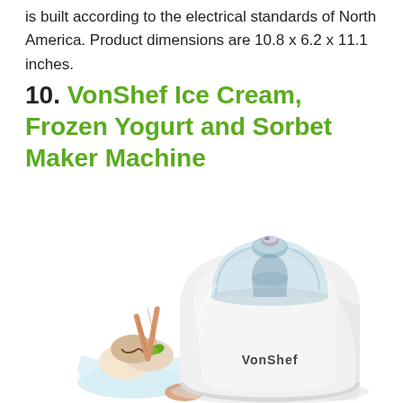is built according to the electrical standards of North America. Product dimensions are 10.8 x 6.2 x 11.1 inches.
10. VonShef Ice Cream, Frozen Yogurt and Sorbet Maker Machine
[Figure (photo): VonShef ice cream, frozen yogurt and sorbet maker machine — a white rounded appliance with a clear plastic lid and the VonShef logo on the front, shown alongside a bowl of ice cream with wafers and toppings.]